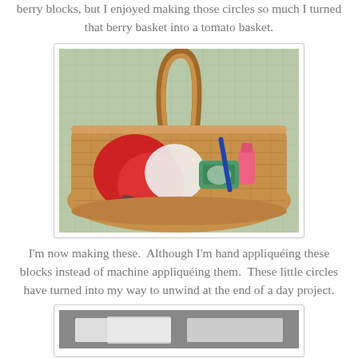berry blocks, but I enjoyed making those circles so much I turned that berry basket into a tomato basket.
[Figure (photo): A wicker basket viewed from above containing sewing/crafting supplies including red circular fabric pieces, scissors, tape dispenser (Scotch brand), a pink bottle, a blue pen, and other notions, on a green cutting mat background.]
I'm now making these. Although I'm hand appliquéing these blocks instead of machine appliquéing them. These little circles have turned into my way to unwind at the end of a day project.
[Figure (photo): Partial view of what appears to be a quilting project with white/grey fabric pieces on a grey background.]